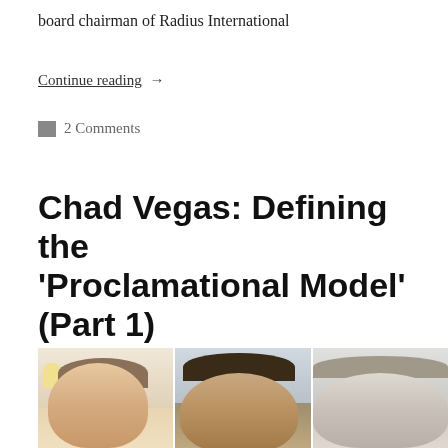board chairman of Radius International
Continue reading →
2 Comments
Chad Vegas: Defining the 'Proclamational Model' (Part 1)
[Figure (photo): Video call screenshot showing three men in separate panels, appearing to be a podcast or interview recording.]